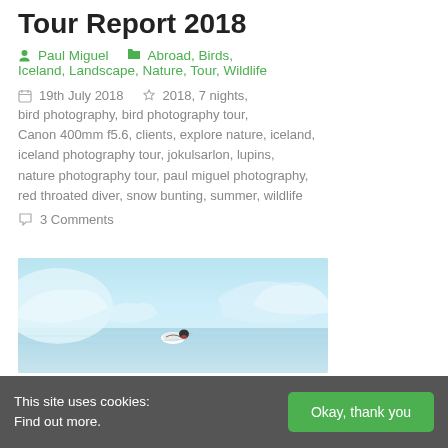Tour Report 2018
Paul Miguel   Abroad, Birds, Iceland, Landscape, Nature, Tour, Wildlife
19th July 2018   2018, 7 nights, bird photography, bird photography tour, Canon 400mm f5.6, clients, explore nature, iceland, iceland photography tour, jokulsarlon, lupins, nature photography tour, paul miguel photography, red throated diver, snow bunting, summer, wildlife
3 Comments
[Figure (photo): A bird (red-throated diver) swimming on a calm glacial lagoon with large blue-white icebergs in the background, Iceland.]
This site uses cookies: Find out more.   Okay, thank you